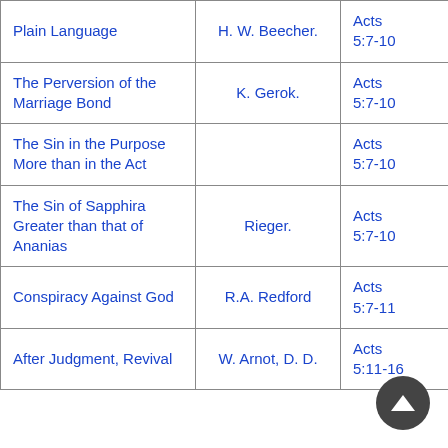| Title | Author | Reference |
| --- | --- | --- |
| Plain Language | H. W. Beecher. | Acts 5:7-10 |
| The Perversion of the Marriage Bond | K. Gerok. | Acts 5:7-10 |
| The Sin in the Purpose More than in the Act |  | Acts 5:7-10 |
| The Sin of Sapphira Greater than that of Ananias | Rieger. | Acts 5:7-10 |
| Conspiracy Against God | R.A. Redford | Acts 5:7-11 |
| After Judgment, Revival | W. Arnot, D. D. | Acts 5:11-16 |